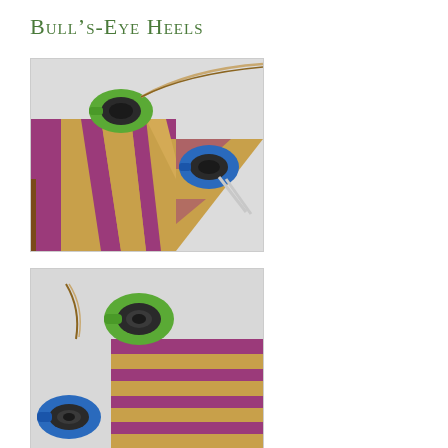Bull's-Eye Heels
[Figure (photo): Close-up photo of a colorful striped knitted sock heel in progress on circular needles, with green and blue knitting needle connectors/stitch markers visible. The yarn is multicolored with purple, yellow, and brown stripes.]
[Figure (photo): Second close-up photo of the same colorful striped knitted sock heel in progress, showing the green and blue knitting needle connectors from a different angle, with the striped knit fabric visible.]